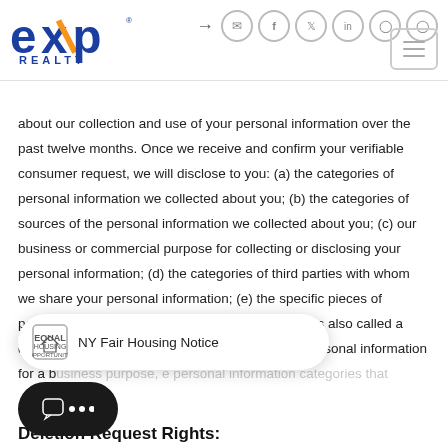eXp Realty header with navigation icons
about our collection and use of your personal information over the past twelve months. Once we receive and confirm your verifiable consumer request, we will disclose to you: (a) the categories of personal information we collected about you; (b) the categories of sources of the personal information we collected about you; (c) our business or commercial purpose for collecting or disclosing your personal information; (d) the categories of third parties with whom we share your personal information; (e) the specific pieces of personal information we collected about you (this is also called a data portability request); (f) if we disclosed your personal information for a business purpose, the personal information categories that each category of recipient received.
[Figure (other): NY Fair Housing Notice badge/popup]
[Figure (other): Chat bubble widget with three dots]
Deletion Request Rights: